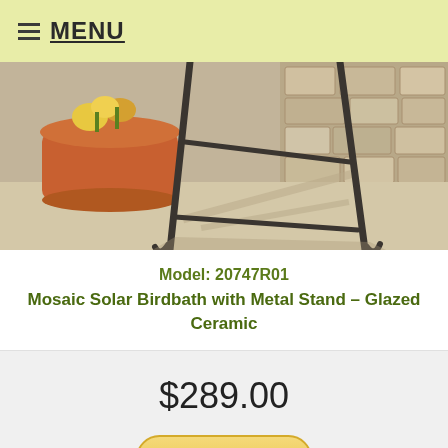MENU
[Figure (photo): Outdoor patio scene showing metal birdbath stand legs on a stone/concrete floor near a stone wall, with an orange terracotta pot with flowers in the background.]
Model: 20747R01
Mosaic Solar Birdbath with Metal Stand – Glazed Ceramic
$289.00
Add to cart